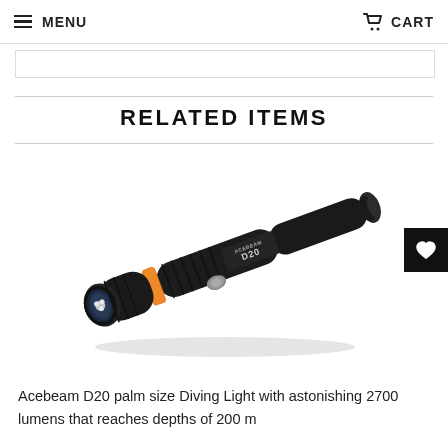MENU   CART
RELATED ITEMS
[Figure (photo): Acebeam D20 diving flashlight — a black cylindrical dive light with an orange ring near the head, a silver side button, and the label 'ACEBEAM D20' on the body, shown at a diagonal angle]
Acebeam D20 palm size Diving Light with astonishing 2700 lumens that reaches depths of 200 m